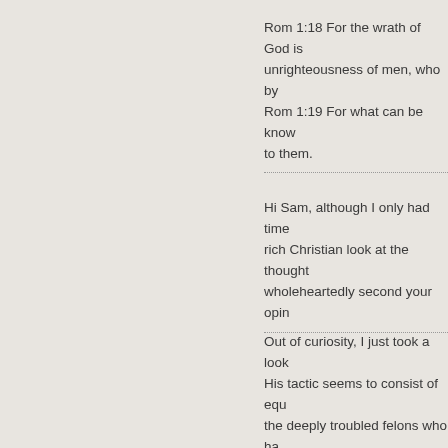Rom 1:18 For the wrath of God is unrighteousness of men, who by Rom 1:19 For what can be known to them.
Hi Sam, although I only had time rich Christian look at the thought wholeheartedly second your opin
Out of curiosity, I just took a look His tactic seems to consist of equ the deeply troubled felons who ha It's an interesting -- and slandero pro-life community believe what v none of us would have any troub appendectomies. But that's not th just that -- a little person, who des Blogger does as an adult.